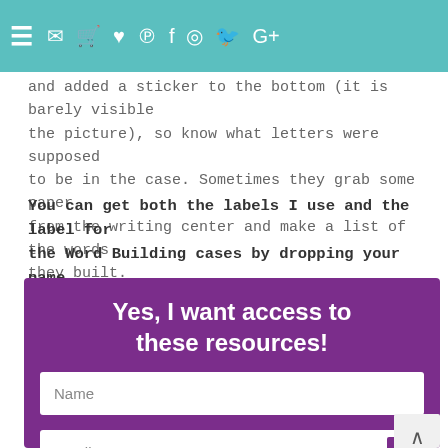and added a sticker to the bottom (it is barely visible the picture), so know what letters were supposed to be in the case. Sometimes they grab some paper from the writing center and make a list of the words they built.
and added a sticker to the bottom (it is barely visible the picture), so know what letters were supposed to be in the case. Sometimes they grab some paper from the writing center and make a list of the words they built.
You can get both the labels I use and the label for the Word Building cases by dropping your name and email below.
[Figure (screenshot): Purple signup form box with bold white title 'Yes, I want access to these resources!' and two input fields for Name and Email on a purple background.]